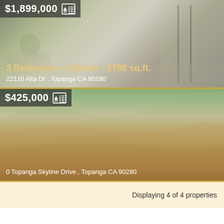[Figure (photo): Interior photo of a modern home with large windows and living room, showing listing at $1,899,000]
$1,899,000
3 Bedrooms • 3 Baths • 2798 sq.ft.
22110 Alta Dr , Topanga CA 90290
[Figure (photo): Hillside/land photo showing dry scrub landscape for listing at $425,000]
$425,000
0 Topanga Skyline Drive , Topanga CA 90290
Displaying 4 of 4 properties
[Figure (logo): HOMES logo in white on dark navy blue background]